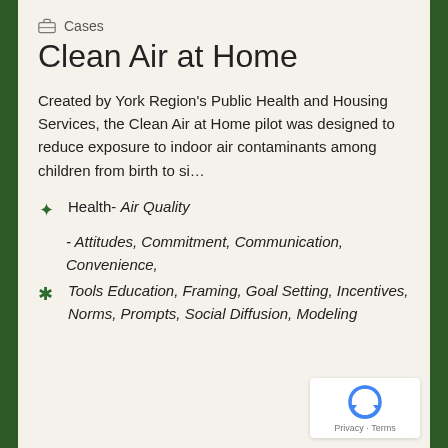Cases
Clean Air at Home
Created by York Region's Public Health and Housing Services, the Clean Air at Home pilot was designed to reduce exposure to indoor air contaminants among children from birth to si…
Health- Air Quality
- Attitudes, Commitment, Communication, Convenience,
Tools Education, Framing, Goal Setting, Incentives, Norms, Prompts, Social Diffusion, Modeling